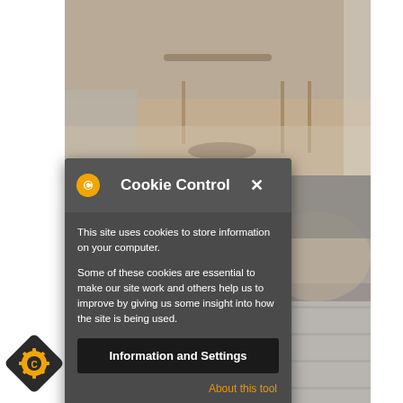[Figure (photo): Interior photo of a Scandinavian-style dining area with wooden chairs and a round table on a light wood floor, with neutral upholstered seating visible on the left. Lower portion shows a grey upholstered surface and light wooden paneling.]
[Figure (screenshot): Cookie Control dialog box with dark grey background. Header shows an orange gear/cookie icon and 'Cookie Control' title with an X close button. Body contains two paragraphs of text about cookie usage, a black 'Information and Settings' button, and an orange 'About this tool' link.]
[Figure (logo): Cookie Control diamond-shaped dark badge with orange gear/cookie icon in the bottom-left corner of the page.]